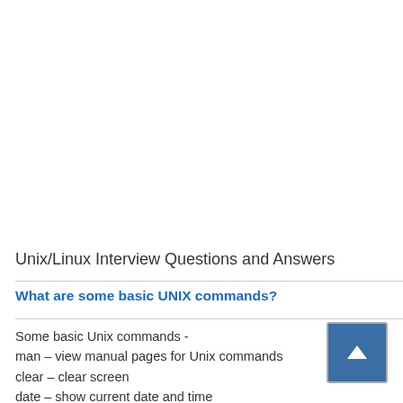Unix/Linux Interview Questions and Answers
What are some basic UNIX commands?
Some basic Unix commands -
man – view manual pages for Unix commands
clear – clear screen
date – show current date and time